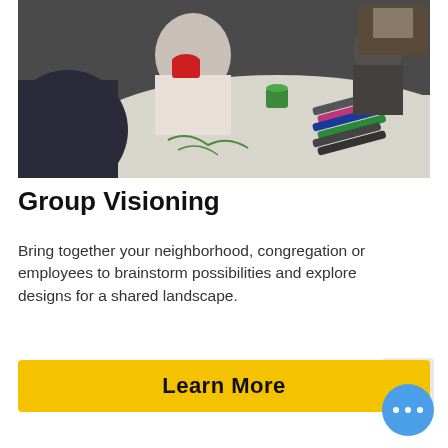[Figure (photo): People gathered around a white table drawing or sketching on paper. A young child is drinking from a red cup while an older adult helps with the drawing. Markers and art supplies are on the table.]
Group Visioning
Bring together your neighborhood, congregation or employees to brainstorm possibilities and explore designs for a shared landscape.
Price: $600 - $5,000
Learn More